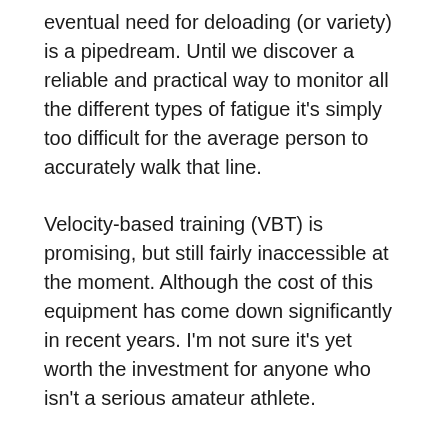eventual need for deloading (or variety) is a pipedream. Until we discover a reliable and practical way to monitor all the different types of fatigue it's simply too difficult for the average person to accurately walk that line.
Velocity-based training (VBT) is promising, but still fairly inaccessible at the moment. Although the cost of this equipment has come down significantly in recent years. I'm not sure it's yet worth the investment for anyone who isn't a serious amateur athlete.
Minimizing Fatigue, Not Speeding Up Recovery